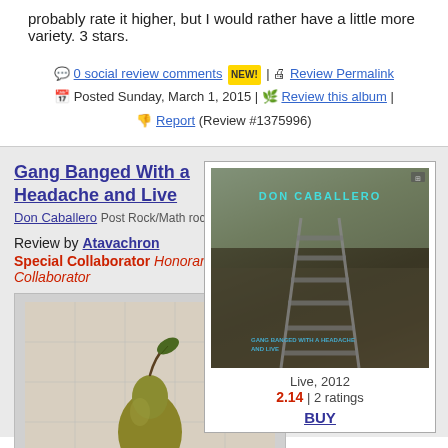probably rate it higher, but I would rather have a little more variety. 3 stars.
0 social review comments NEW! | Review Permalink | Posted Sunday, March 1, 2015 | Review this album | Report (Review #1375996)
Gang Banged With a Headache and Live
Don Caballero Post Rock/Math rock
Review by Atavachron Special Collaborator Honorary Collaborator
[Figure (photo): Album cover for Gang Banged With a Headache and Live by Don Caballero, showing railway tracks in an overgrown field. Text reads DON CABALLERO and GANG BANGED WITH A HEADACHE AND LIVE.]
Live, 2012
2.14 | 2 ratings
BUY
[Figure (photo): Reviewer avatar showing a pear fruit painting/still life on a stone pedestal]
★★☆☆☆ "The first ever live